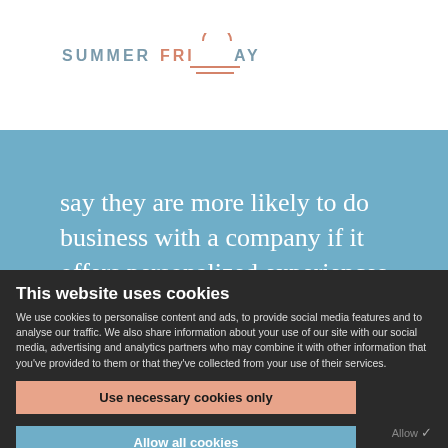[Figure (logo): Summer Friday logo — text 'SUMMERFRIDAY' with a stylized sun/semicircle icon above horizontal lines, letters in muted blue-gray and salmon/peach colors]
say they are more likely to do business with a company if it offers personalized experiences
This website uses cookies
We use cookies to personalise content and ads, to provide social media features and to analyse our traffic. We also share information about your use of our site with our social media, advertising and analytics partners who may combine it with other information that you've provided to them or that they've collected from your use of their services.
Use necessary cookies only
Allow all cookies